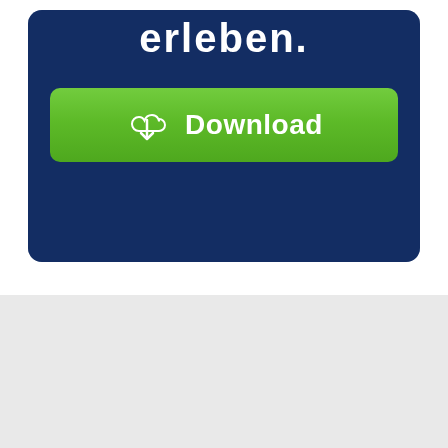[Figure (screenshot): A dark blue banner/card with bold white text 'erleben.' at the top and a green Download button with a cloud-and-arrow icon below it. The card has rounded corners and sits on a white background. Below the card is a light gray section.]